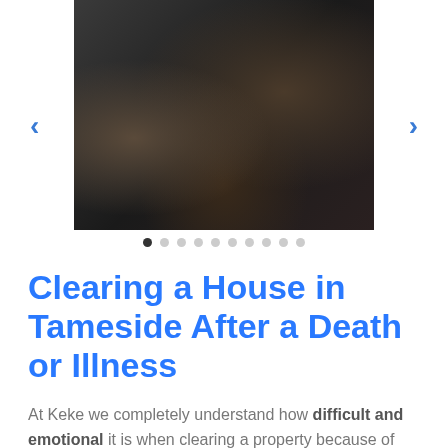[Figure (photo): A cluttered room or property filled with household items, boxes, bags, and belongings piled up, viewed from above at an angle. Dark, moody image suggesting a hoarding or clearance situation.]
Clearing a House in Tameside After a Death or Illness
At Keke we completely understand how difficult and emotional it is when clearing a property because of bereavement or the failing health of a family member.
We always treat the personal belongings of your loved one with dignity and respect, and after identifying items of value for you